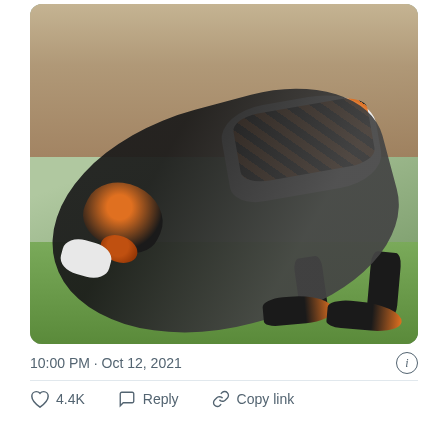[Figure (photo): A Cincinnati Bengals football player in black jersey and orange-striped white pants performing an acrobatic catch or dive, nearly upside down, clutching a football on the field. Other players visible in background on a stadium field.]
10:00 PM · Oct 12, 2021
4.4K  Reply  Copy link